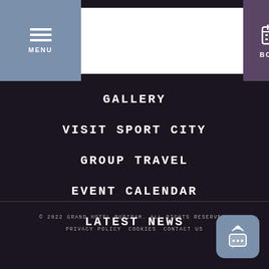MENU | [Logo] | BOOK
GALLERY
VISIT SPORT CITY
GROUP TRAVEL
EVENT CALENDAR
LATEST NEWS
© 2022 GRAND HOTEL BURIRAM. ALL RIGHTS RESERVED. | PRIVACY POLICY | COOKIES | CONTACT US